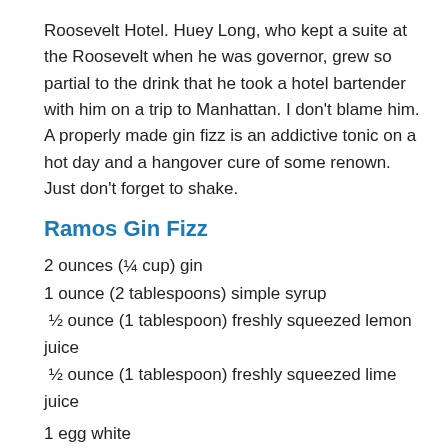Roosevelt Hotel. Huey Long, who kept a suite at the Roosevelt when he was governor, grew so partial to the drink that he took a hotel bartender with him on a trip to Manhattan. I don't blame him. A properly made gin fizz is an addictive tonic on a hot day and a hangover cure of some renown. Just don't forget to shake.
Ramos Gin Fizz
2 ounces (¼ cup) gin
1 ounce (2 tablespoons) simple syrup
½ ounce (1 tablespoon) freshly squeezed lemon juice
½ ounce (1 tablespoon) freshly squeezed lime juice
1 egg white
1 ounce (2 tablespoons) heavy cream
4 drops orange flower water Chilled club soda